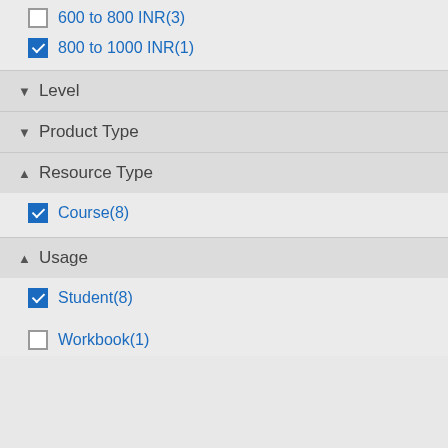600 to 800 INR(3)
800 to 1000 INR(1)
▼ Level
▼ Product Type
▲ Resource Type
Course(8)
▲ Usage
Student(8)
Workbook(1)